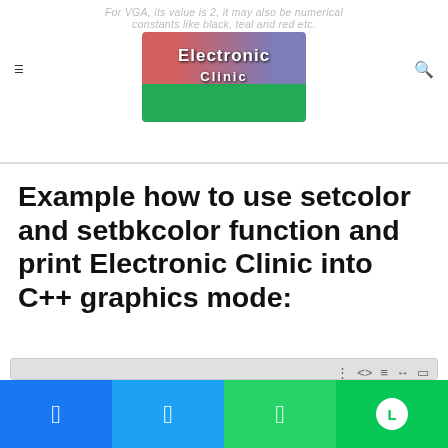Electronic Clinic — website header with navigation menu and search icon
Example how to use setcolor and setbkcolor function and print Electronic Clinic into C++ graphics mode:
[Figure (screenshot): Code editor screenshot showing C++ code: #include<graphics.h>, #include<conio.h>, main(), {, int d,m,co;, d= DETECT;, initgraph(&d, &m, "");, cleardevice();, for(co=0; co<=15; co++), {]
Facebook share | Twitter share | WhatsApp share | LINE share